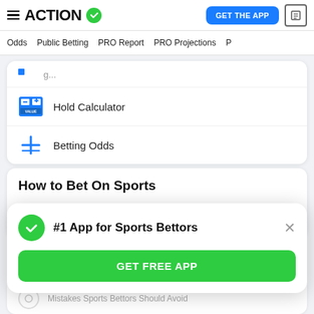ACTION | GET THE APP
Odds | Public Betting | PRO Report | PRO Projections
Hold Calculator
Betting Odds
How to Bet On Sports
Legal Sportsbook Details & Reviews
#1 App for Sports Bettors
GET FREE APP
Mistakes Sports Bettors Should Avoid